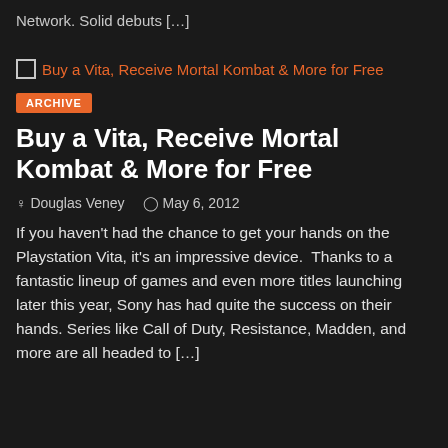Network. Solid debuts […]
[Figure (screenshot): Broken image placeholder icon followed by article link text: Buy a Vita, Receive Mortal Kombat & More for Free]
ARCHIVE
Buy a Vita, Receive Mortal Kombat & More for Free
Douglas Veney   May 6, 2012
If you haven't had the chance to get your hands on the Playstation Vita, it's an impressive device.  Thanks to a fantastic lineup of games and even more titles launching later this year, Sony has had quite the success on their hands. Series like Call of Duty, Resistance, Madden, and more are all headed to […]